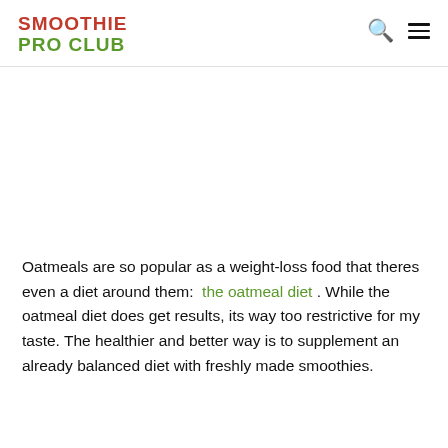SMOOTHIE PRO CLUB
Oatmeals are so popular as a weight-loss food that theres even a diet around them:  the oatmeal diet . While the oatmeal diet does get results, its way too restrictive for my taste. The healthier and better way is to supplement an already balanced diet with freshly made smoothies.